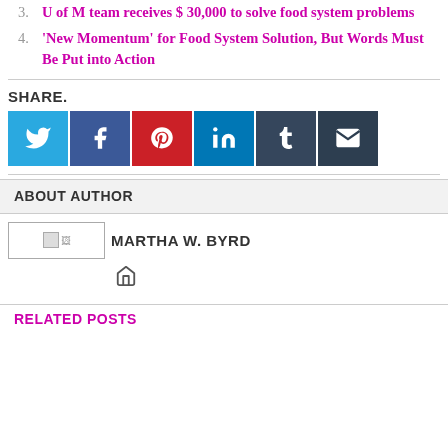3. U of M team receives $ 30,000 to solve food system problems
4. ‘New Momentum’ for Food System Solution, But Words Must Be Put into Action
SHARE.
[Figure (infographic): Six social media share buttons: Twitter (blue), Facebook (dark blue), Pinterest (red), LinkedIn (blue), Tumblr (dark navy), Email (dark grey)]
ABOUT AUTHOR
[Figure (photo): Broken/loading author photo placeholder image]
MARTHA W. BYRD
[Figure (infographic): Home icon]
RELATED POSTS